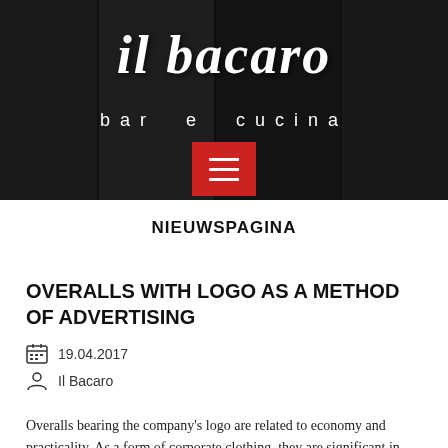[Figure (photo): Il Bacaro bar e cucina website header banner with black and white photo collage of Italian street scenes and restaurant dining, overlaid with cursive logo text 'il bacaro' and subtitle 'bar e cucina', with a red hamburger menu button]
NIEUWSPAGINA
OVERALLS WITH LOGO AS A METHOD OF ADVERTISING
19.04.2017
Il Bacaro
Overalls bearing the company's logo are related to economy and practicality. As a form of corporate clothing, they are significant in...